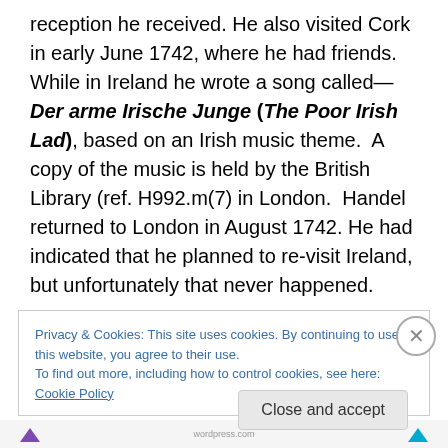reception he received. He also visited Cork in early June 1742, where he had friends. While in Ireland he wrote a song called— Der arme Irische Junge (The Poor Irish Lad), based on an Irish music theme.  A copy of the music is held by the British Library (ref. H992.m(7) in London.  Handel returned to London in August 1742. He had indicated that he planned to re-visit Ireland, but unfortunately that never happened.

One small memento of Handel's visit to Dublin remains— the arched white center entrance way (see image above
Privacy & Cookies: This site uses cookies. By continuing to use this website, you agree to their use.
To find out more, including how to control cookies, see here: Cookie Policy
Close and accept